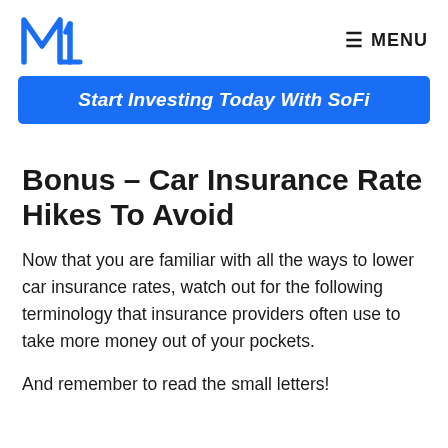M1 MENU
[Figure (illustration): Blue banner button with white italic bold text: Start Investing Today With SoFi]
Bonus – Car Insurance Rate Hikes To Avoid
Now that you are familiar with all the ways to lower car insurance rates, watch out for the following terminology that insurance providers often use to take more money out of your pockets.
And remember to read the small letters!